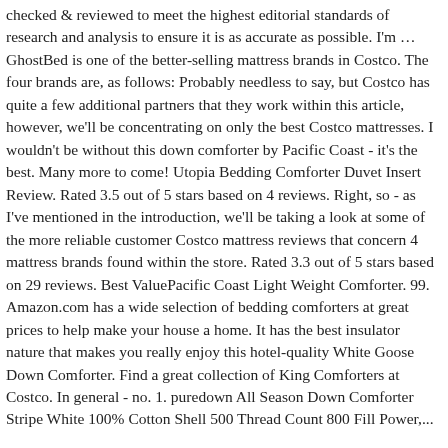checked & reviewed to meet the highest editorial standards of research and analysis to ensure it is as accurate as possible. I'm … GhostBed is one of the better-selling mattress brands in Costco. The four brands are, as follows: Probably needless to say, but Costco has quite a few additional partners that they work within this article, however, we'll be concentrating on only the best Costco mattresses. I wouldn't be without this down comforter by Pacific Coast - it's the best. Many more to come! Utopia Bedding Comforter Duvet Insert Review. Rated 3.5 out of 5 stars based on 4 reviews. Right, so - as I've mentioned in the introduction, we'll be taking a look at some of the more reliable customer Costco mattress reviews that concern 4 mattress brands found within the store. Rated 3.3 out of 5 stars based on 29 reviews. Best ValuePacific Coast Light Weight Comforter. 99. Amazon.com has a wide selection of bedding comforters at great prices to help make your house a home. It has the best insulator nature that makes you really enjoy this hotel-quality White Goose Down Comforter. Find a great collection of King Comforters at Costco. In general - no. 1. puredown All Season Down Comforter Stripe White 100% Cotton Shell 500 Thread Count 800 Fill Power,...